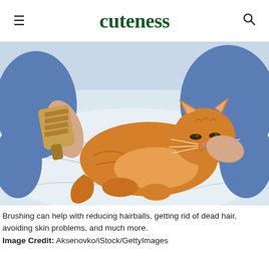cuteness
[Figure (photo): A person brushing an orange tabby cat lying on a white bed. The person is wearing blue jeans and holding a wooden slicker brush on the cat's back.]
Brushing can help with reducing hairballs, getting rid of dead hair, avoiding skin problems, and much more.
Image Credit: Aksenovko/iStock/GettyImages